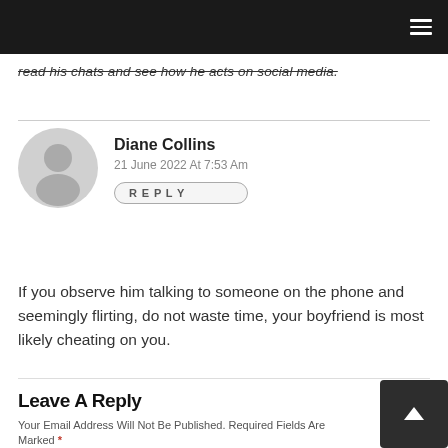☰
read his chats and see how he acts on social media.
Diane Collins
21 June 2022 At 7:53 Am
REPLY
If you observe him talking to someone on the phone and seemingly flirting, do not waste time, your boyfriend is most likely cheating on you.
Leave A Reply
Your Email Address Will Not Be Published. Required Fields Are Marked *